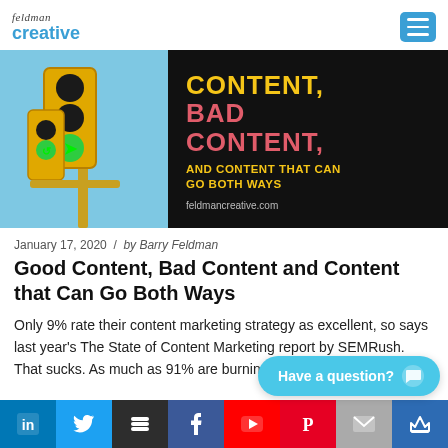feldman creative
[Figure (photo): Hero banner image: left side shows traffic light with green arrows on blue sky background; right side has black background with colored text reading 'CONTENT, BAD CONTENT, AND CONTENT THAT CAN GO BOTH WAYS' and 'feldmancreative.com']
January 17, 2020  /  by Barry Feldman
Good Content, Bad Content and Content that Can Go Both Ways
Only 9% rate their content marketing strategy as excellent, so says last year's The State of Content Marketing report by SEMRush. That sucks. As much as 91% are burning...